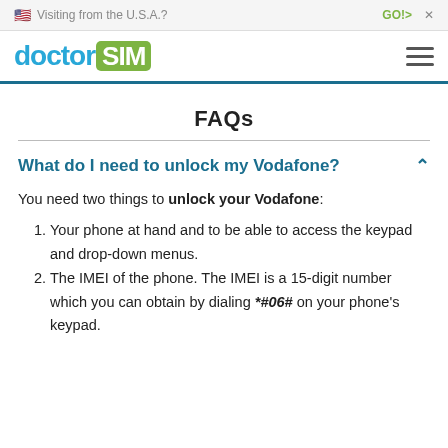🇺🇸 Visiting from the U.S.A.?  GO!>  ×
[Figure (logo): doctorSIM logo with 'doctor' in blue and 'SIM' in white on green rounded rectangle background]
FAQs
What do I need to unlock my Vodafone?
You need two things to unlock your Vodafone:
Your phone at hand and to be able to access the keypad and drop-down menus.
The IMEI of the phone. The IMEI is a 15-digit number which you can obtain by dialing *#06# on your phone's keypad.